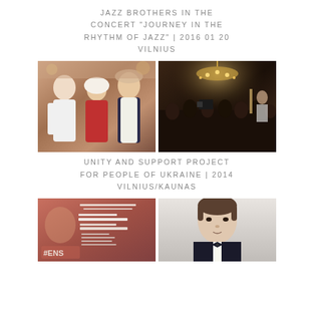JAZZ BROTHERS IN THE CONCERT "JOURNEY IN THE RHYTHM OF JAZZ" | 2016 01 20 VILNIUS
[Figure (photo): Two women in white dresses with a woman in red dress and white hijab, group photo at an event]
[Figure (photo): Concert hall with audience seated and a speaker at a podium, chandelier lit overhead]
UNITY AND SUPPORT PROJECT FOR PEOPLE OF UKRAINE | 2014 VILNIUS/KAUNAS
[Figure (photo): Event poster/programme with text in Lithuanian including choir and Norwegian choir performers, with #ENSS hashtag]
[Figure (photo): Portrait of a young man in formal attire (suit and bow tie)]